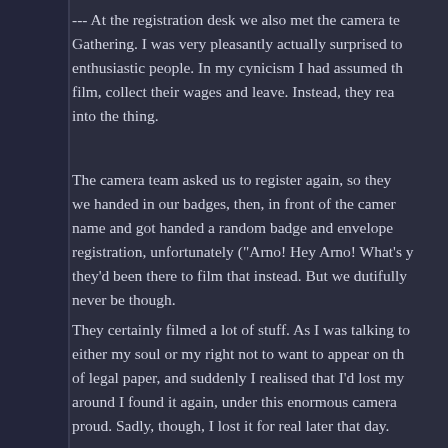--- At the registration desk we also met the camera te... Gathering. I was very pleasantly actually surprised to... enthusiastic people. In my cynicism I had assumed th... film, collect their wages and leave. Instead, they rea... into the thing.
The camera team asked us to register again, so they... we handed in our badges, then, in front of the camer... name and got handed a random badge and envelope... registration, unfortunately ("Arno! Hey Arno! What's y... they'd been there to film that instead. But we dutifully... never be though.
They certainly filmed a lot of stuff. As I was talking to... either my soul or my right not to want to appear on th... of legal paper, and suddenly I realised that I'd lost my... around I found it again, under this enormous camera... proud. Sadly, though, I lost it for real later that day.
--- As always the Gathering officially kicked off with th... order: we watched the movies, we listened to the sto... had in store for us, there was a fun tape with reco...